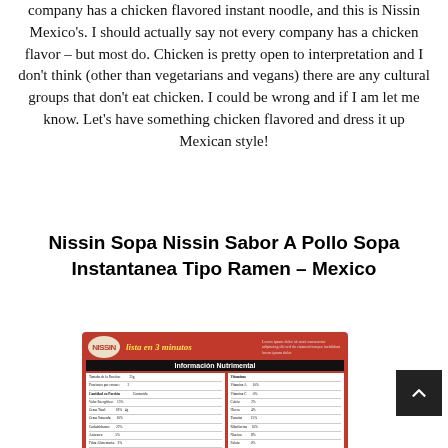company has a chicken flavored instant noodle, and this is Nissin Mexico's. I should actually say not every company has a chicken flavor – but most do. Chicken is pretty open to interpretation and I don't think (other than vegetarians and vegans) there are any cultural groups that don't eat chicken. I could be wrong and if I am let me know. Let's have something chicken flavored and dress it up Mexican style!
Nissin Sopa Nissin Sabor A Pollo Sopa Instantanea Tipo Ramen – Mexico
[Figure (photo): Photo of the back of a Nissin instant noodle package with red background, showing the Nissin logo, 'Lista en 3 minutos' text, and a nutritional information table (Información Nutrimental) in Spanish.]